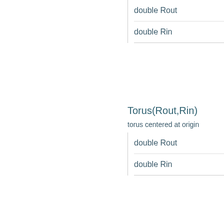double Rout
double Rin
Torus(Rout,Rin)
torus centered at origin
double Rout
double Rin
Torus(cx,cy,cz,Rout,Rin)
double cx
double cy
double cz
double Rout